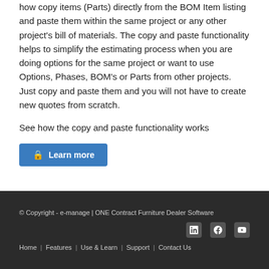how copy items (Parts) directly from the BOM Item listing and paste them within the same project or any other project's bill of materials. The copy and paste functionality helps to simplify the estimating process when you are doing options for the same project or want to use Options, Phases, BOM's or Parts from other projects. Just copy and paste them and you will not have to create new quotes from scratch.
See how the copy and paste functionality works
Learn more
© Copyright - e-manage | ONE Contract Furniture Dealer Software | Home | Features | Use & Learn | Support | Contact Us